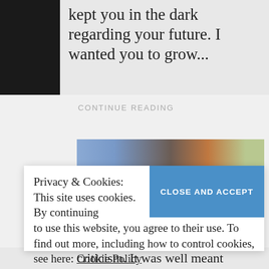kept you in the dark regarding your future. I wanted you to grow...
CONTINUE READING
[Figure (photo): Partial photo of a person with red/auburn hair, outdoors]
Privacy & Cookies: This site uses cookies. By continuing to use this website, you agree to their use. To find out more, including how to control cookies, see here: Cookie Policy
CLOSE AND ACCEPT
criticism. It was well meant